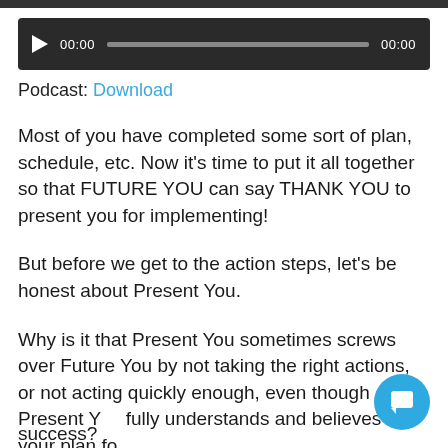[Figure (screenshot): Audio player bar with play button, 00:00 timestamps, and progress bar on dark background]
Podcast: Download
Most of you have completed some sort of plan, schedule, etc. Now it's time to put it all together so that FUTURE YOU can say THANK YOU to present you for implementing!
But before we get to the action steps, let's be honest about Present You.
Why is it that Present You sometimes screws over Future You by not taking the right actions, or not acting quickly enough, even though Present You fully understands and believes in your plan for success?